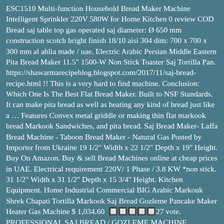ESC1510 Multi-function Household Bread Maker Machine Intelligent Sprinkler 220V 580W for Home Kitchen 0 review COD Bread saj table top gas operated saj diameter: Ø 650 mm construction scotch bright finish 18/10 aisi 304 dim: 700 x 700 x 300 mm al ahlia made / uae. Electric Arabic Persian Middle Eastern Pita Bread Maker 11.5" 1500-W Non Stick Toaster Saj Tortilla Pan. https://shawarmarecipeblog.blogspot.com/2017/11/saj-bread-recipe.html !! This is a very hard to find machine. Conclusion: Which One Is The Best Flat Bread Maker. Built to NSF Standards. It can make pita bread as well as heating any kind of bread just like a … Features Convex metal griddle or making thin flat markook bread Markook Sandwiches, and pita bread. Saj Bread Maker- Laffa Bread Machine - Taboon Bread Maker - Natural Gas Posted by Importer from Ukraine 19 1/2" Width x 22 1/2" Depth x 19" Height. Buy On Amazon. Buy & sell Bread Machines online at cheap prices in UAE. Electrical requirement 220V/ 1 Phase / 3.8 KW *non stick. 31 1/2" Width x 31 1/2" Depth x 15 3/4" Height. Kitchen Equipment. Home Industrial Commercial BIG Arabic Markouk Shrek Chapati Tortilla Markook Saj Bread Gozleme Pancake Maker Heater Gas Machine $ 1,034.60  🔲🔲🔲🔲🔲27 vote. PROFESSIONAL SAJ BREAD / GOZLEME MACHINE COUNTERTOP OVAL SHAPE MODEL Made in Turkey !!! The Electric Arabic